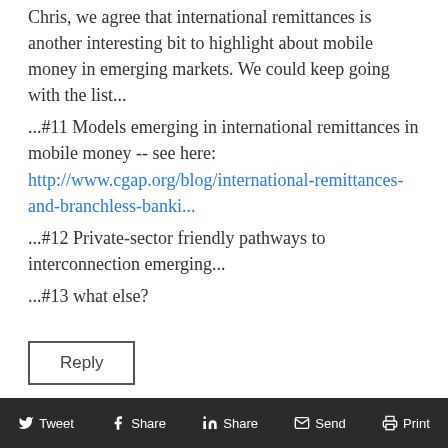Chris, we agree that international remittances is another interesting bit to highlight about mobile money in emerging markets. We could keep going with the list...
...#11 Models emerging in international remittances in mobile money -- see here: http://www.cgap.org/blog/international-remittances-and-branchless-banki...
...#12 Private-sector friendly pathways to interconnection emerging...
...#13 what else?
Reply
Tweet  Share  Share  Send  Print